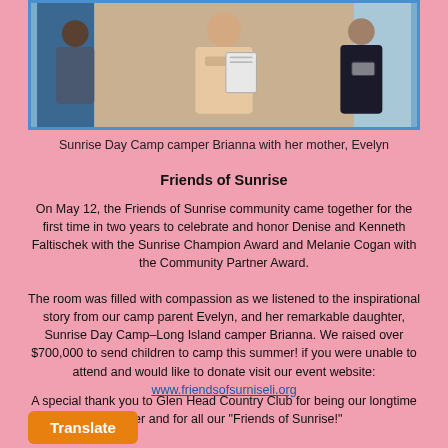[Figure (photo): Photo of Sunrise Day Camp camper Brianna with her mother Evelyn, two women indoors]
Sunrise Day Camp camper Brianna with her mother, Evelyn
Friends of Sunrise
On May 12, the Friends of Sunrise community came together for the first time in two years to celebrate and honor Denise and Kenneth Faltischek with the Sunrise Champion Award and Melanie Cogan with the Community Partner Award.
The room was filled with compassion as we listened to the inspirational story from our camp parent Evelyn, and her remarkable daughter, Sunrise Day Camp–Long Island camper Brianna. We raised over $700,000 to send children to camp this summer! if you were unable to attend and would like to donate visit our event website: www.friendsofsurniseli.org
A special thank you to Glen Head Country Club for being our longtime partner and for all our "Friends of Sunrise!"
Translate